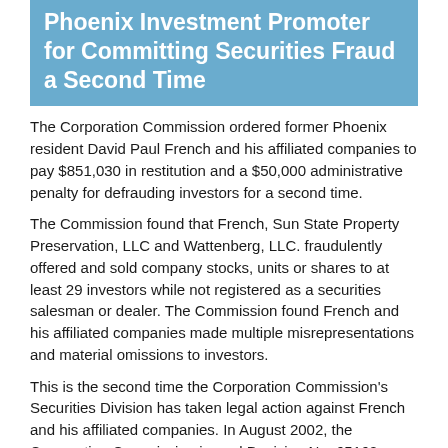Phoenix Investment Promoter for Committing Securities Fraud a Second Time
The Corporation Commission ordered former Phoenix resident David Paul French and his affiliated companies to pay $851,030 in restitution and a $50,000 administrative penalty for defrauding investors for a second time.
The Commission found that French, Sun State Property Preservation, LLC and Wattenberg, LLC. fraudulently offered and sold company stocks, units or shares to at least 29 investors while not registered as a securities salesman or dealer. The Commission found French and his affiliated companies made multiple misrepresentations and material omissions to investors.
This is the second time the Corporation Commission's Securities Division has taken legal action against French and his affiliated companies. In August 2002, the Corporation Commission issued Decision No. 65162 against French and others for their fraudulent offerings and sales of securities in his companies while he defrauded investors to 2002...